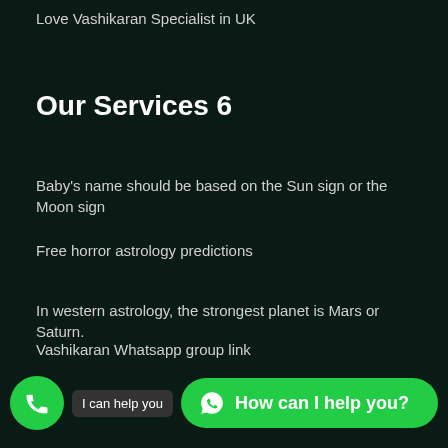Love Vashikaran Specialist in UK
Our Services 6
Baby's name should be based on the Sun sign or the Moon sign
Free horror astrology predictions
In western astrology, the strongest planet is Mars or Saturn.
Extra phalanges on fingers What does Vedic astrology tells about it
Vashikaran Whatsapp group link
bl…magic WhatsApp group link
love problem solution online free